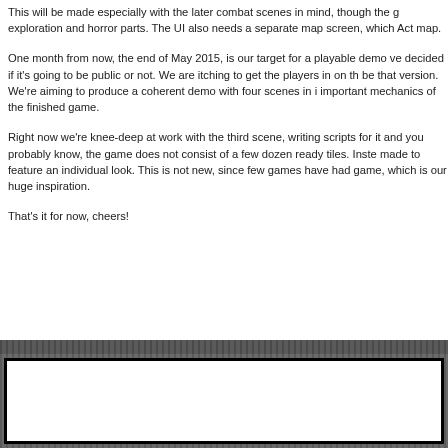This will be made especially with the later combat scenes in mind, though the g exploration and horror parts. The UI also needs a separate map screen, which Act map.
One month from now, the end of May 2015, is our target for a playable demo ve decided if it's going to be public or not. We are itching to get the players in on th be that version. We're aiming to produce a coherent demo with four scenes in i important mechanics of the finished game.
Right now we're knee-deep at work with the third scene, writing scripts for it and you probably know, the game does not consist of a few dozen ready tiles. Inste made to feature an individual look. This is not new, since few games have had game, which is our huge inspiration.
That's it for now, cheers!
[Figure (other): Empty white box with black border at the bottom of the page, surrounded by dark dotted/hatched background.]